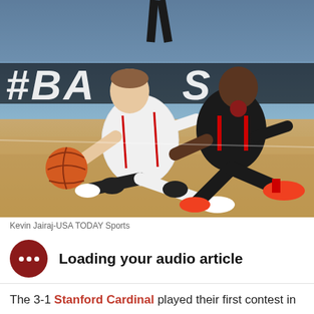[Figure (photo): Basketball action photo: Wisconsin player in white jersey on the floor grabs a loose ball while a Stanford Cardinal player in black and red uniform lunges over him. Background shows an indoor arena with crowd and a dark banner.]
Kevin Jairaj-USA TODAY Sports
Loading your audio article
The 3-1 Stanford Cardinal played their first contest in